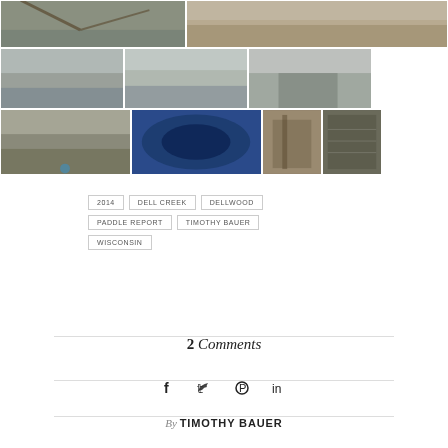[Figure (photo): Photo collage of 9 outdoor nature/creek photos arranged in 3 rows showing Dell Creek area in winter conditions, kayaks, and trail signage]
2014
DELL CREEK
DELLWOOD
PADDLE REPORT
TIMOTHY BAUER
WISCONSIN
2 Comments
By TIMOTHY BAUER